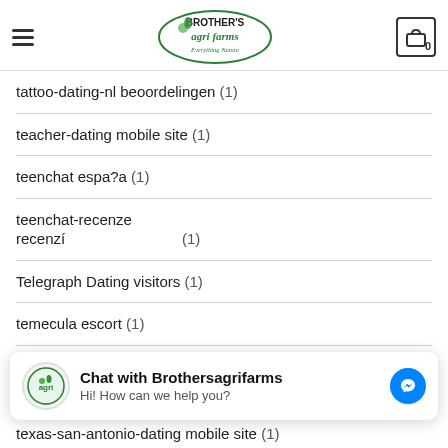Brother's Agri Farms - Everything Nature
tattoo-dating-nl beoordelingen (1)
teacher-dating mobile site (1)
teenchat espa?a (1)
teenchat-recenze recenzí (1)
Telegraph Dating visitors (1)
temecula escort (1)
tendermeets inscription (1)
[Figure (screenshot): Chat widget: Chat with Brothersagrifarms - Hi! How can we help you? with Messenger icon]
texas-san-antonio-dating mobile site (1)